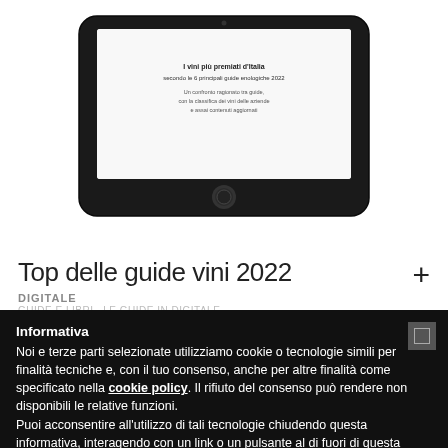[Figure (photo): Tablet device showing a wine guide publication page with Italian text about 'I vini più premiati d'Italia secondo le 6 principali guide enologiche 2022']
Top delle guide vini 2022
DIGITALE
GUIDE E LIBRI · LE GUIDE IN DIGITALE
Informativa
Noi e terze parti selezionate utilizziamo cookie o tecnologie simili per finalità tecniche e, con il tuo consenso, anche per altre finalità come specificato nella cookie policy. Il rifiuto del consenso può rendere non disponibili le relative funzioni.
Puoi acconsentire all'utilizzo di tali tecnologie chiudendo questa informativa, interagendo con un link o un pulsante al di fuori di questa informativa o continuando a navigare in altro modo.